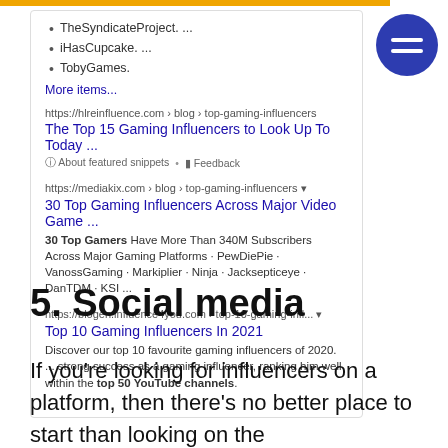TheSyndicateProject. ...
iHasCupcake. ...
TobyGames.
More items...
https://hlreinfluence.com › blog › top-gaming-influencers
The Top 15 Gaming Influencers to Look Up To Today ...
About featured snippets • Feedback
https://mediakix.com › blog › top-gaming-influencers
30 Top Gaming Influencers Across Major Video Game ...
30 Top Gamers Have More Than 340M Subscribers Across Major Gaming Platforms · PewDiePie · VanossGaming · Markiplier · Ninja · Jacksepticeye · DanTDM · KSI ...
https://blogen.influence4you.com › top-10-gaming-infl...
Top 10 Gaming Influencers In 2021
Discover our top 10 favourite gaming influencers of 2020. ... strong success as a gaming influencer, ranking him well within the top 50 YouTube channels.
5. Social media
If you're looking for influencers on a platform, then there's no better place to start than looking on the